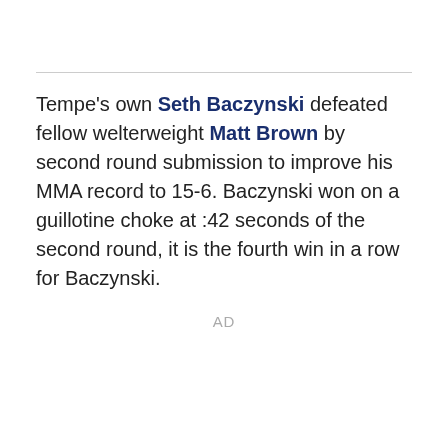Tempe's own Seth Baczynski defeated fellow welterweight Matt Brown by second round submission to improve his MMA record to 15-6. Baczynski won on a guillotine choke at :42 seconds of the second round, it is the fourth win in a row for Baczynski.
AD